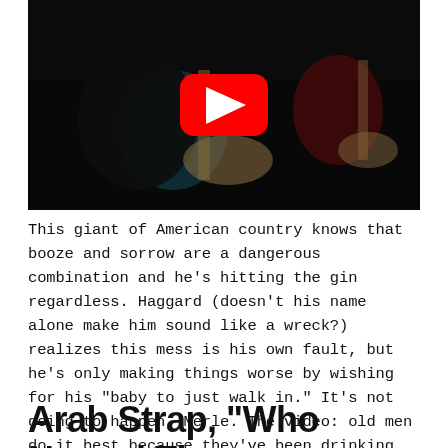[Figure (screenshot): YouTube video thumbnail showing musicians playing guitars on a dark stage. A YouTube play button overlay (red rounded rectangle with white triangle) is centered on the image.]
This giant of American country knows that booze and sorrow are a dangerous combination and he’s hitting the gin regardless. Haggard (doesn’t his name alone make him sound like a wreck?) realizes this mess is his own fault, but he’s only making things worse by wishing for his “baby to just walk in.” It’s not going to happen, Merle. The video: old men do it best because they’ve been drinking for a long time.
Arab Strap, “Who Named The